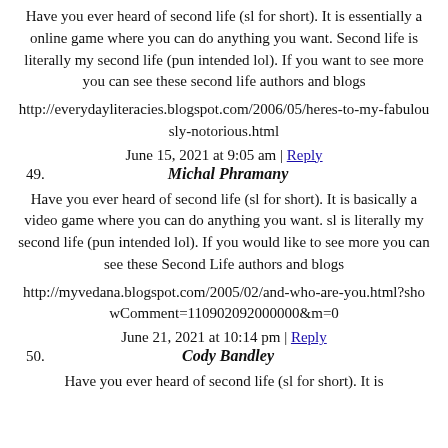Have you ever heard of second life (sl for short). It is essentially a online game where you can do anything you want. Second life is literally my second life (pun intended lol). If you want to see more you can see these second life authors and blogs
http://everydayliteracies.blogspot.com/2006/05/heres-to-my-fabulously-notorious.html
June 15, 2021 at 9:05 am | Reply
49. Michal Phramany
Have you ever heard of second life (sl for short). It is basically a video game where you can do anything you want. sl is literally my second life (pun intended lol). If you would like to see more you can see these Second Life authors and blogs
http://myvedana.blogspot.com/2005/02/and-who-are-you.html?showComment=110902092000000&m=0
June 21, 2021 at 10:14 pm | Reply
50. Cody Bandley
Have you ever heard of second life (sl for short). It is